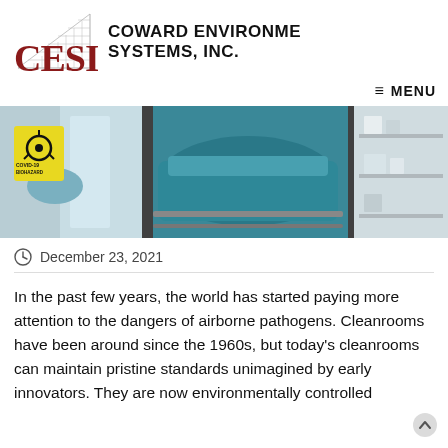[Figure (logo): CESI logo with grid triangle graphic and text COWARD ENVIRONMENTAL SYSTEMS, INC.]
≡ MENU
[Figure (photo): Three-panel hero image: biohazard COVID-19 warning sign with medical worker in gloves, patient on gurney with teal covering, medical storage shelves]
December 23, 2021
In the past few years, the world has started paying more attention to the dangers of airborne pathogens. Cleanrooms have been around since the 1960s, but today's cleanrooms can maintain pristine standards unimagined by early innovators. They are now environmentally controlled